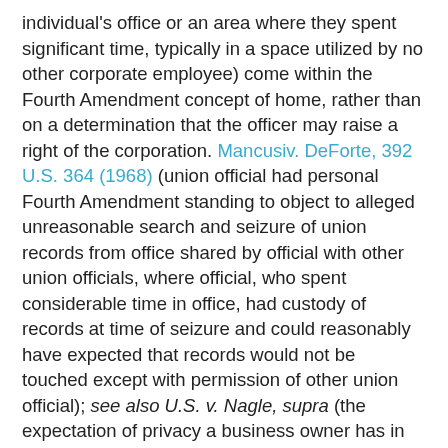individual's office or an area where they spent significant time, typically in a space utilized by no other corporate employee) come within the Fourth Amendment concept of home, rather than on a determination that the officer may raise a right of the corporation. Mancusiv. DeForte, 392 U.S. 364 (1968) (union official had personal Fourth Amendment standing to object to alleged unreasonable search and seizure of union records from office shared by official with other union officials, where official, who spent considerable time in office, had custody of records at time of seizure and could reasonably have expected that records would not be touched except with permission of other union official); see also U.S. v. Nagle, supra (the expectation of privacy a business owner has in commercial property `is different from, and indeed less than, a similar expectation in an individual's home') (quoting NewYork v. Burger, 482 U.S. 691(1987). . . . Mancusi established `that one has standing to